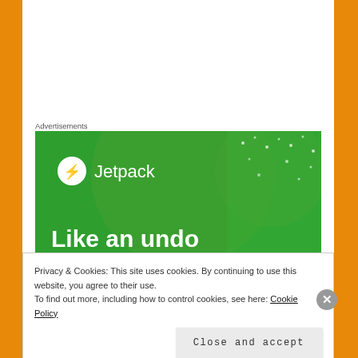Advertisements
[Figure (illustration): Jetpack advertisement banner with green background, Jetpack logo (lightning bolt in circle) and brand name, large overlapping circles, text 'Like an undo' at bottom]
There are some enlightening moments in the book, but mostly it’s his perspective on world events happening at the time. I’m very neutral with my feelings about it, I guess it’s a
Privacy & Cookies: This site uses cookies. By continuing to use this website, you agree to their use.
To find out more, including how to control cookies, see here: Cookie Policy
Close and accept